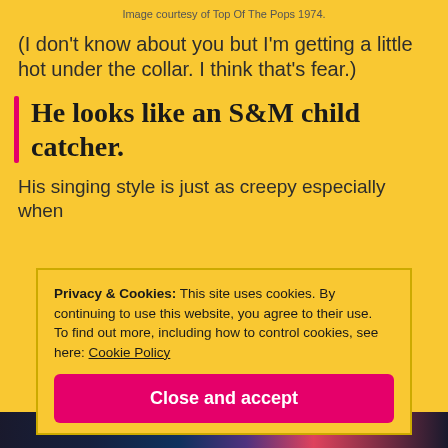Image courtesy of Top Of The Pops 1974.
(I don't know about you but I'm getting a little hot under the collar. I think that's fear.)
He looks like an S&M child catcher.
His singing style is just as creepy especially when
Privacy & Cookies: This site uses cookies. By continuing to use this website, you agree to their use.
To find out more, including how to control cookies, see here: Cookie Policy
Close and accept
[Figure (photo): Bottom strip showing a dark colorful photo/image partially visible at the bottom of the page]